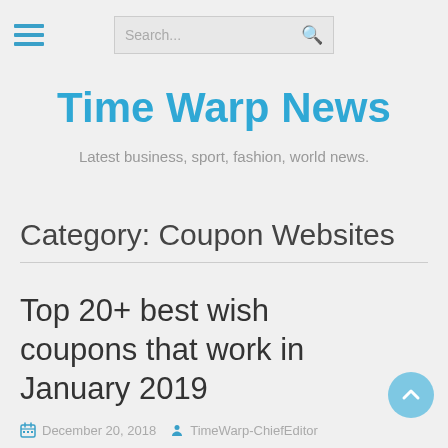Search...
Time Warp News
Latest business, sport, fashion, world news.
Category: Coupon Websites
Top 20+ best wish coupons that work in January 2019
December 20, 2018   TimeWarp-ChiefEditor